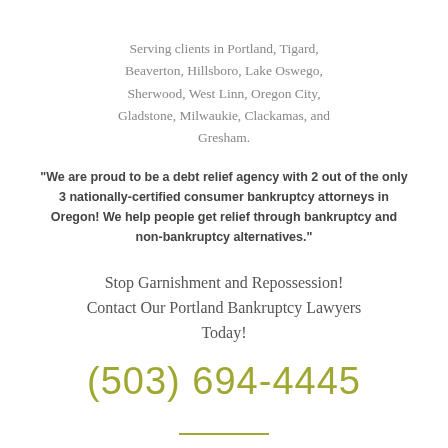Serving clients in Portland, Tigard, Beaverton, Hillsboro, Lake Oswego, Sherwood, West Linn, Oregon City, Gladstone, Milwaukie, Clackamas, and Gresham.
"We are proud to be a debt relief agency with 2 out of the only 3 nationally-certified consumer bankruptcy attorneys in Oregon! We help people get relief through bankruptcy and non-bankruptcy alternatives."
Stop Garnishment and Repossession! Contact Our Portland Bankruptcy Lawyers Today!
(503) 694-4445